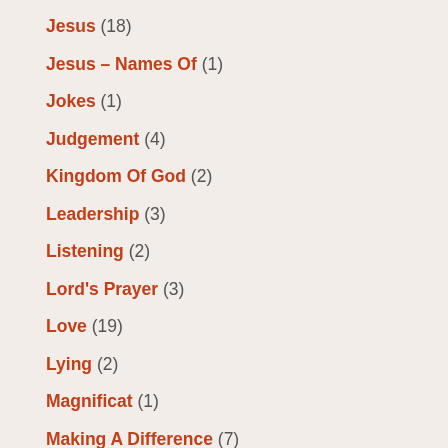Jesus (18)
Jesus – Names Of (1)
Jokes (1)
Judgement (4)
Kingdom Of God (2)
Leadership (3)
Listening (2)
Lord's Prayer (3)
Love (19)
Lying (2)
Magnificat (1)
Making A Difference (7)
Marriage (18)
Men & Women (1)
Miracles (1)